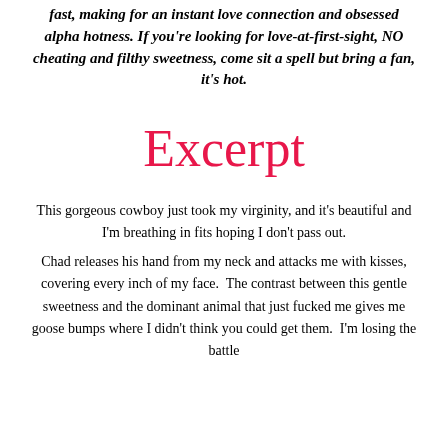fast, making for an instant love connection and obsessed alpha hotness. If you're looking for love-at-first-sight, NO cheating and filthy sweetness, come sit a spell but bring a fan, it's hot.
Excerpt
This gorgeous cowboy just took my virginity, and it's beautiful and I'm breathing in fits hoping I don't pass out. Chad releases his hand from my neck and attacks me with kisses, covering every inch of my face. The contrast between this gentle sweetness and the dominant animal that just fucked me gives me goose bumps where I didn't think you could get them. I'm losing the battle